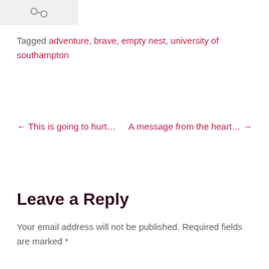[Figure (illustration): Small icon showing a chain/link symbol on a light grey background]
Tagged adventure, brave, empty nest, university of southampton
← This is going to hurt...    A message from the heart... →
Leave a Reply
Your email address will not be published. Required fields are marked *